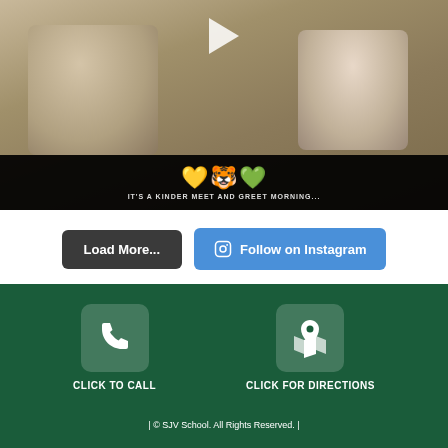[Figure (photo): Children playing on a playground, holding hands in a circle. A video play button overlay is visible at the top. A black bar at the bottom shows emoji (yellow heart, tiger, green heart) and partial text caption. The photo shows kids on a mulch-covered playground with climbing equipment.]
💛🐯💚
IT'S A KINDER MEET AND GREET MORNING...
Load More...
Follow on Instagram
CLICK TO CALL
CLICK FOR DIRECTIONS
| © SJV School. All Rights Reserved. |